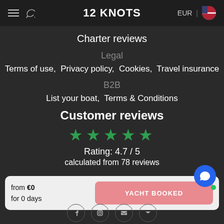12 KNOTS | EUR
Charter reviews
Legal
Terms of use,  Privacy policy,  Cookies,  Travel insurance
B2B
List your boat,  Terms & Conditions
Customer reviews
Rating: 4.7 / 5
calculated from 78 reviews
from €0
for 0 days
YACHT BOOKED